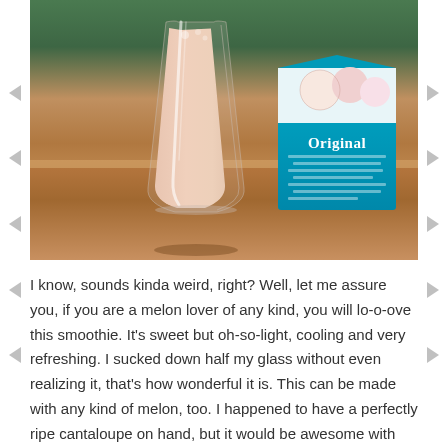[Figure (photo): A tall glass filled with a light peach/cream colored smoothie on a wooden table, with a teal 'Original' branded product carton visible in the background.]
I know, sounds kinda weird, right? Well, let me assure you, if you are a melon lover of any kind, you will lo-o-ove this smoothie. It's sweet but oh-so-light, cooling and very refreshing. I sucked down half my glass without even realizing it, that's how wonderful it is. This can be made with any kind of melon, too. I happened to have a perfectly ripe cantaloupe on hand, but it would be awesome with honeydew, or even watermelon!